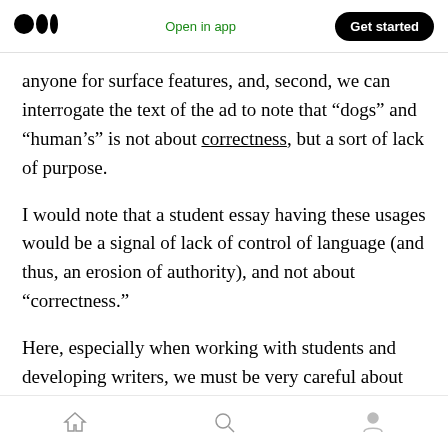Medium logo | Open in app | Get started
anyone for surface features, and, second, we can interrogate the text of the ad to note that “dogs” and “human’s” is not about correctness, but a sort of lack of purpose.
I would note that a student essay having these usages would be a signal of lack of control of language (and thus, an erosion of authority), and not about “correctness.”
Here, especially when working with students and developing writers, we must be very careful about how we explain the relationship between
Home | Search | Profile